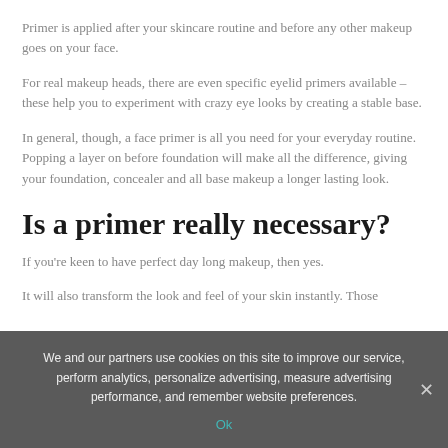Primer is applied after your skincare routine and before any other makeup goes on your face.
For real makeup heads, there are even specific eyelid primers available – these help you to experiment with crazy eye looks by creating a stable base.
In general, though, a face primer is all you need for your everyday routine. Popping a layer on before foundation will make all the difference, giving your foundation, concealer and all base makeup a longer lasting look.
Is a primer really necessary?
If you're keen to have perfect day long makeup, then yes.
It will also transform the look and feel of your skin instantly. Those
We and our partners use cookies on this site to improve our service, perform analytics, personalize advertising, measure advertising performance, and remember website preferences.
Ok